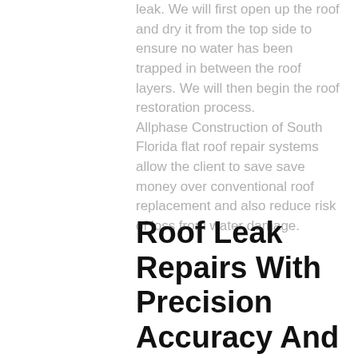leak. We will first open up the roof and dry it from the top side to ensure no water has been trapped in between the roof layers. We will then begin the roof restoration process. Allphase Construction of South Florida flat roof repair systems allow the client to save save money over conventional roof replacement and also reduce risk of loss from water damage.
Roof Leak Repairs With Precision Accuracy And Benefits